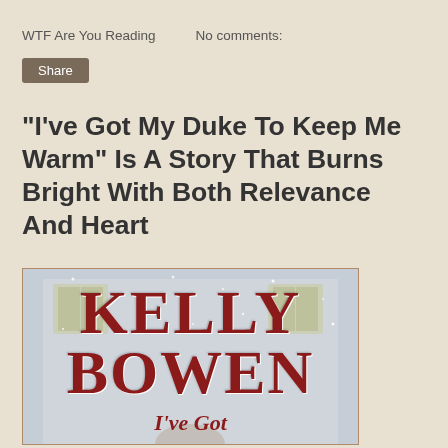WTF Are You Reading    No comments:
Share
"I've Got My Duke To Keep Me Warm" Is A Story That Burns Bright With Both Relevance And Heart
[Figure (photo): Book cover of 'I've Got My Duke To Keep Me Warm' by Kelly Bowen, showing the author name in large red serif letters against a snowy building background, with the book title 'I've Got' visible at the bottom in italic red text.]